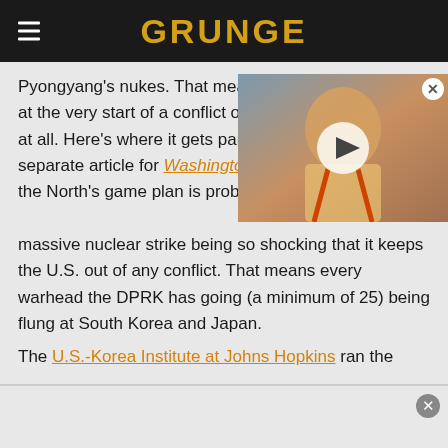GRUNGE
Pyongyang's nukes. That means Kim has to fire them at the very start of a conflict or e... at all. Here's where it gets par... separate article for Washingto... the North's game plan is probo... massive nuclear strike being so shocking that it keeps the U.S. out of any conflict. That means every warhead the DPRK has going (a minimum of 25) being flung at South Korea and Japan.
[Figure (photo): Video thumbnail showing a person, with a play button overlay and a close button]
The U.S.-Korea Institute at Johns Hopkins ran the